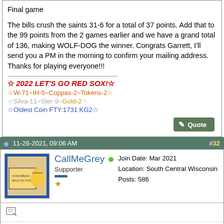Final game

The bills crush the saints 31-6 for a total of 37 points. Add that to the 99 points from the 2 games earlier and we have a grand total of 136, making WOLF-DOG the winner. Congrats Garrett, I'll send you a PM in the morning to confirm your mailing address. Thanks for playing everyone!!!
☆ 2022 LET'S GO RED SOX!☆
☆W-71~IH-5~Coppas-2~Tokens-2☆
☆Silva-11~Ster-9~Gold-2☆
☆Oldest Coin FTY:1731 KG2☆
11-26-2021, 09:06 AM  #32
CallMeGrey  Supporter
Join Date: Mar 2021
Location: South Central Wisconsin
Posts: 586
Thanks for the contest! And Congrats to WolfDog! Amazing he was the first to respond.